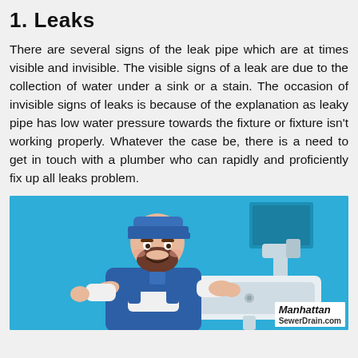1. Leaks
There are several signs of the leak pipe which are at times visible and invisible. The visible signs of a leak are due to the collection of water under a sink or a stain. The occasion of invisible signs of leaks is because of the explanation as leaky pipe has low water pressure towards the fixture or fixture isn't working properly. Whatever the case be, there is a need to get in touch with a plumber who can rapidly and proficiently fix up all leaks problem.
[Figure (illustration): Cartoon illustration of a plumber with a beard working on a sink, set against a blue background. In the bottom right corner is the Manhattan SewerDrain.com logo.]